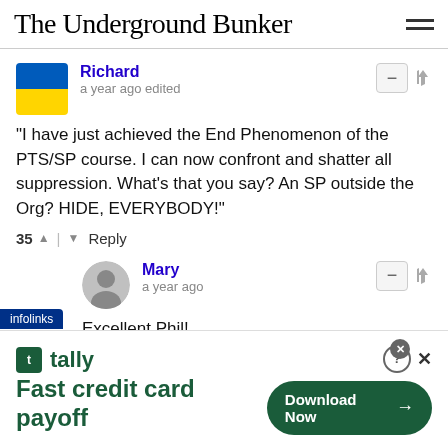The Underground Bunker
Richard
a year ago edited
"I have just achieved the End Phenomenon of the PTS/SP course. I can now confront and shatter all suppression. What's that you say? An SP outside the Org? HIDE, EVERYBODY!"
35 | Reply
Mary
a year ago
Excellent Phil!
Sorry about your nephew, however. Very sad; he's missing out on a wonderful relationship.
[Figure (screenshot): Tally app advertisement banner: 'Fast credit card payoff' with Download Now button]